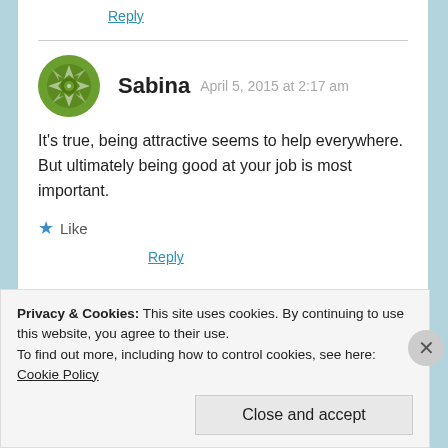Reply
Sabina  April 5, 2015 at 2:17 am
It's true, being attractive seems to help everywhere. But ultimately being good at your job is most important.
Like
Reply
Privacy & Cookies: This site uses cookies. By continuing to use this website, you agree to their use.
To find out more, including how to control cookies, see here: Cookie Policy
Close and accept